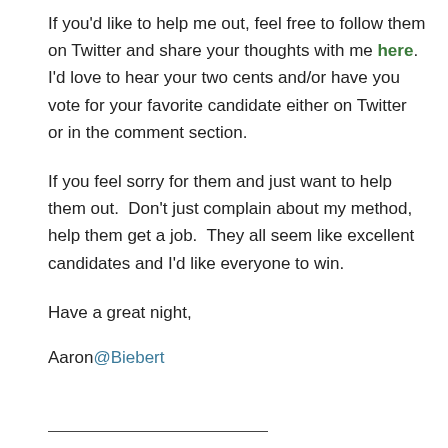If you'd like to help me out, feel free to follow them on Twitter and share your thoughts with me here.  I'd love to hear your two cents and/or have you vote for your favorite candidate either on Twitter or in the comment section.
If you feel sorry for them and just want to help them out.  Don't just complain about my method, help them get a job.  They all seem like excellent candidates and I'd like everyone to win.
Have a great night,
Aaron@Biebert